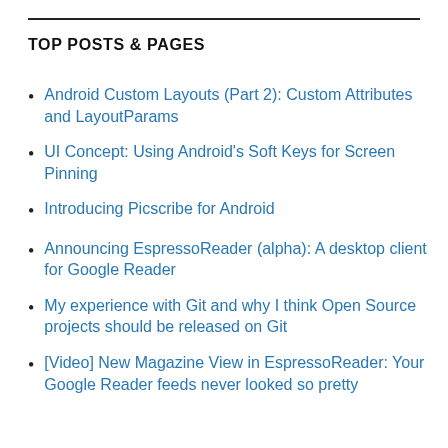TOP POSTS & PAGES
Android Custom Layouts (Part 2): Custom Attributes and LayoutParams
UI Concept: Using Android's Soft Keys for Screen Pinning
Introducing Picscribe for Android
Announcing EspressoReader (alpha): A desktop client for Google Reader
My experience with Git and why I think Open Source projects should be released on Git
[Video] New Magazine View in EspressoReader: Your Google Reader feeds never looked so pretty